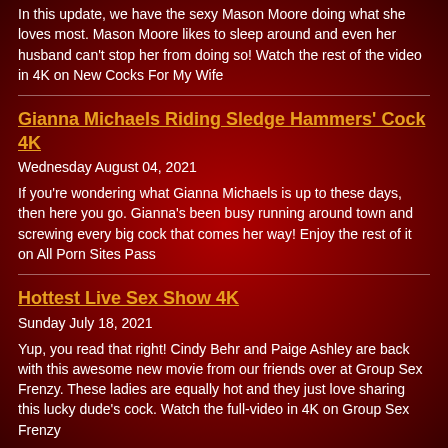In this update, we have the sexy Mason Moore doing what she loves most. Mason Moore likes to sleep around and even her husband can't stop her from doing so! Watch the rest of the video in 4K on New Cocks For My Wife
Gianna Michaels Riding Sledge Hammers' Cock 4K
Wednesday August 04, 2021
If you're wondering what Gianna Michaels is up to these days, then here you go. Gianna's been busy running around town and screwing every big cock that comes her way! Enjoy the rest of it on All Porn Sites Pass
Hottest Live Sex Show 4K
Sunday July 18, 2021
Yup, you read that right! Cindy Behr and Paige Ashley are back with this awesome new movie from our friends over at Group Sex Frenzy. These ladies are equally hot and they just love sharing this lucky dude's cock. Watch the full-video in 4K on Group Sex Frenzy